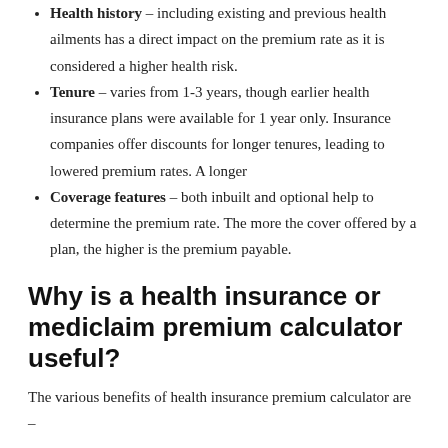Health history – including existing and previous health ailments has a direct impact on the premium rate as it is considered a higher health risk.
Tenure – varies from 1-3 years, though earlier health insurance plans were available for 1 year only. Insurance companies offer discounts for longer tenures, leading to lowered premium rates. A longer
Coverage features – both inbuilt and optional help to determine the premium rate. The more the cover offered by a plan, the higher is the premium payable.
Why is a health insurance or mediclaim premium calculator useful?
The various benefits of health insurance premium calculator are –
The calculator helps in calculating the expected premium of